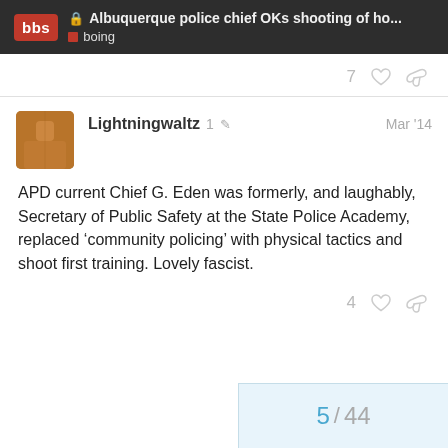Albuquerque police chief OKs shooting of ho... | boing
APD current Chief G. Eden was formerly, and laughably, Secretary of Public Safety at the State Police Academy, replaced ‘community policing’ with physical tactics and shoot first training. Lovely fascist.
5 / 44